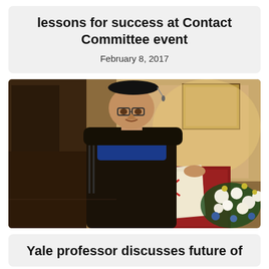lessons for success at Contact Committee event
February 8, 2017
[Figure (photo): A man in academic regalia (doctoral cap and gown with blue hood) standing at a red wooden podium with papers and a microphone, with flowers visible on the right side. The setting appears to be a formal academic or ceremonial event in a warmly lit room.]
Yale professor discusses future of